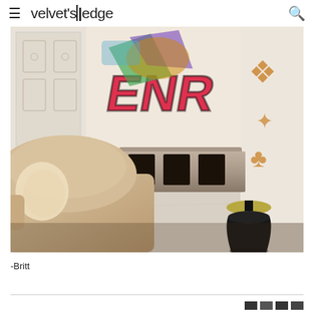velvet's|edge
[Figure (photo): Interior design room photo showing a fluffy boucle sofa in the foreground, a metallic credenza with dark panel openings against a wall featuring graffiti art and ornate classical detailing, and a dark cone-shaped side table with gold disc top, marble-look floor]
-Britt